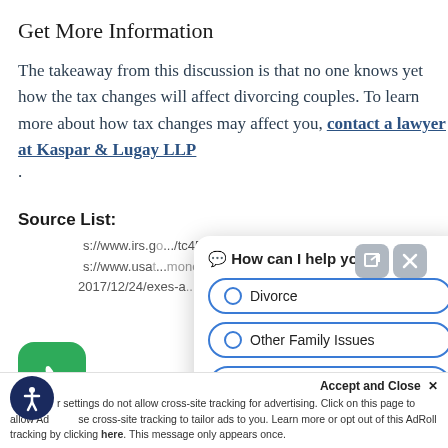Get More Information
The takeaway from this discussion is that no one knows yet how the tax changes will affect divorcing couples. To learn more about how tax changes may affect you, contact a lawyer at Kaspar & Lugay LLP.
Source List:
https://www.irs.g.../tc452
https://www.usato.../money/taxes/2017/12/24/exes-a...-overhaul-...child-cus...-nit...Child Custody...
[Figure (screenshot): Chat widget overlay with question 'How can I help you?' and radio options: Divorce, Other Family Issues, and a partially visible third option. Two icon buttons (external link and close X) in top right corner.]
Accept and Close ×
Your settings do not allow cross-site tracking for advertising. Click on this page to allow AdRoll to use cross-site tracking to tailor ads to you. Learn more or opt out of this AdRoll tracking by clicking here. This message only appears once.